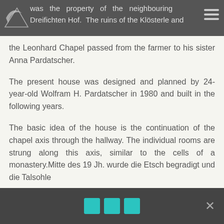was the property of the neighbouring Dreifichten Hof. The ruins of the Klösterle and
the Leonhard Chapel passed from the farmer to his sister Anna Pardatscher.
The present house was designed and planned by 24-year-old Wolfram H. Pardatscher in 1980 and built in the following years.
The basic idea of the house is the continuation of the chapel axis through the hallway. The individual rooms are strung along this axis, similar to the cells of a monastery.Mitte des 19 Jh. wurde die Etsch begradigt und die Talsohle